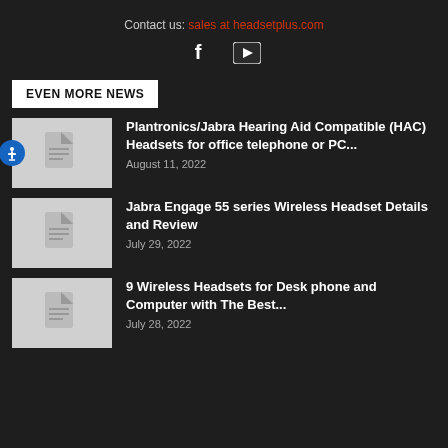Contact us: sales at headsetplus.com
[Figure (other): Social media icons: Facebook (f) and YouTube (play button)]
EVEN MORE NEWS
Plantronics/Jabra Hearing Aid Compatible (HAC) Headsets for office telephone or PC...
August 11, 2022
Jabra Engage 55 series Wireless Headset Details and Review
July 29, 2022
9 Wireless Headsets for Desk phone and Computer with The Best...
July 28, 2022